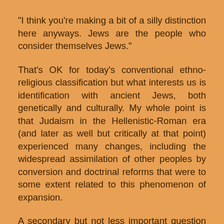"I think you're making a bit of a silly distinction here anyways. Jews are the people who consider themselves Jews."
That's OK for today's conventional ethno-religious classification but what interests us is identification with ancient Jews, both genetically and culturally. My whole point is that Judaism in the Hellenistic-Roman era (and later as well but critically at that point) experienced many changes, including the widespread assimilation of other peoples by conversion and doctrinal reforms that were to some extent related to this phenomenon of expansion.
A secondary but not less important question is that for me as non-JCM (JCM=Judeo-Christo-Muslim), the distinctions you make among these sects are as shallow and irrelevant as the distinctions that can be between any two Christian, Jewish or Muslim sects. For me they are all Jews in their religious beliefs, which are